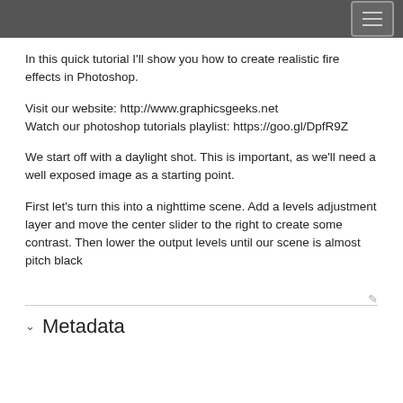In this quick tutorial I'll show you how to create realistic fire effects in Photoshop.
Visit our website: http://www.graphicsgeeks.net
Watch our photoshop tutorials playlist: https://goo.gl/DpfR9Z
We start off with a daylight shot. This is important, as we'll need a well exposed image as a starting point.
First let's turn this into a nighttime scene. Add a levels adjustment layer and move the center slider to the right to create some contrast. Then lower the output levels until our scene is almost pitch black
Metadata